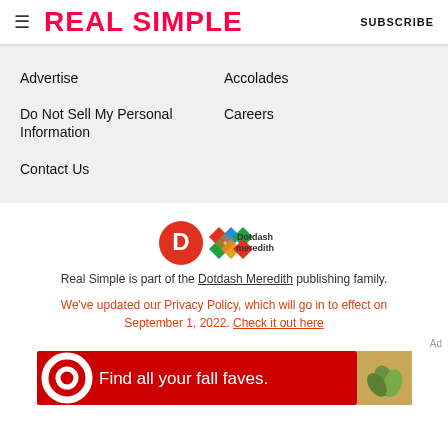REAL SIMPLE | SUBSCRIBE
Advertise
Accolades
Do Not Sell My Personal Information
Careers
Contact Us
[Figure (logo): Dotdash Meredith logo with D circle icon and colorful diamond pattern]
Real Simple is part of the Dotdash Meredith publishing family.
We've updated our Privacy Policy, which will go in to effect on September 1, 2022. Check it out here
Ad
[Figure (screenshot): Target advertisement banner: red background with Target bullseye logo, text 'Find all your fall faves.' and a product image]